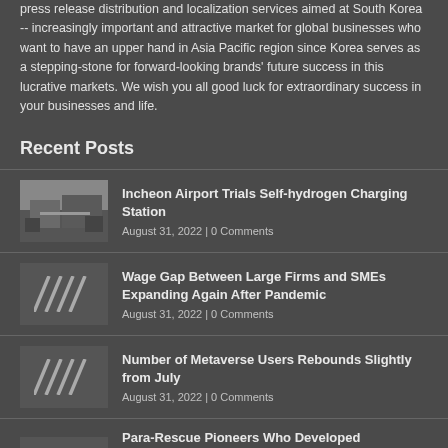press release distribution and localization services aimed at South Korea -- increasingly important and attractive market for global businesses who want to have an upper hand in Asia Pacific region since Korea serves as a stepping-stone for forward-looking brands' future success in this lucrative markets. We wish you all good luck for extraordinary success in your businesses and life.
Recent Posts
Incheon Airport Trials Self-hydrogen Charging Station | August 31, 2022 | 0 Comments
Wage Gap Between Large Firms and SMEs Expanding Again After Pandemic | August 31, 2022 | 0 Comments
Number of Metaverse Users Rebounds Slightly from July | August 31, 2022 | 0 Comments
Para-Rescue Pioneers Who Developed Mobile Offshore Safety Training for Oil & Gas Industry Launch Advanced New Safety Training System